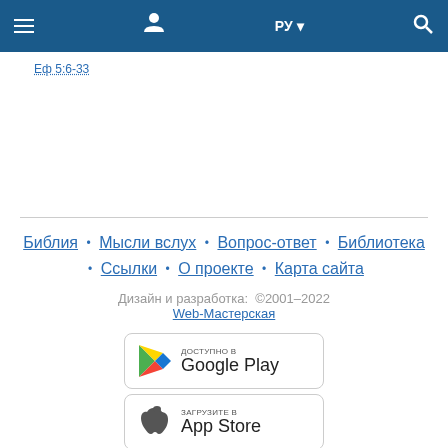≡  [user icon]  РУ ▾  [search icon]
Еф 5:6-33
Библия • Мысли вслух • Вопрос-ответ • Библиотека • Ссылки • О проекте • Карта сайта
Дизайн и разработка: ©2001–2022
Web-Мастерская
[Figure (other): Google Play store badge with text 'Доступно в Google Play']
[Figure (other): App Store badge with text 'Загрузите в App Store']